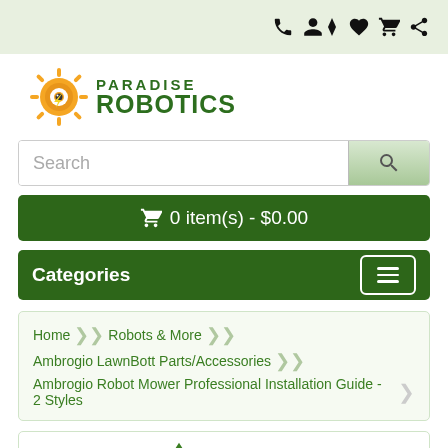Navigation icons: phone, account, wishlist, cart, share
[Figure (logo): Paradise Robotics logo with sun icon]
Search
🛒 0 item(s) - $0.00
Categories
Home > Robots & More > Ambrogio LawnBott Parts/Accessories > Ambrogio Robot Mower Professional Installation Guide - 2 Styles
[Figure (logo): Ambrogio brand logo at bottom]